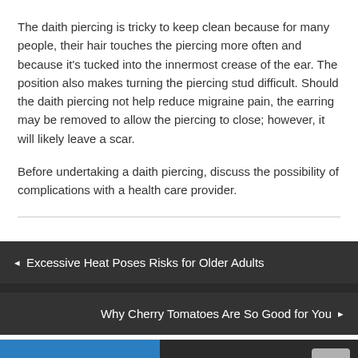The daith piercing is tricky to keep clean because for many people, their hair touches the piercing more often and because it's tucked into the innermost crease of the ear. The position also makes turning the piercing stud difficult. Should the daith piercing not help reduce migraine pain, the earring may be removed to allow the piercing to close; however, it will likely leave a scar.
Before undertaking a daith piercing, discuss the possibility of complications with a health care provider.
◂ Excessive Heat Poses Risks for Older Adults
Why Cherry Tomatoes Are So Good for You ▸
Latest Issue